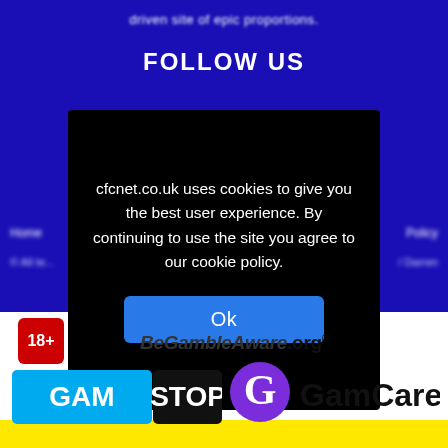driven site of epic proportions.
FOLLOW US
[Figure (screenshot): Cookie consent modal dialog on cfcnet.co.uk website with black background, cookie policy message, and Ok button]
cfcnet.co.uk uses cookies to give you the best user experience. By continuing to use the site you agree to our cookie policy.
Ok
[Figure (logo): 18+ red badge logo, BeGambleAware.org logo, GAMSTOP logo, GamCare logo on white background]